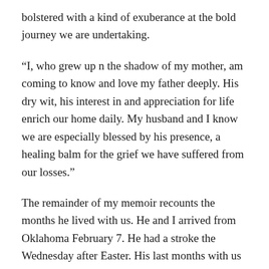bolstered with a kind of exuberance at the bold journey we are undertaking.
“I, who grew up n the shadow of my mother, am coming to know and love my father deeply. His dry wit, his interest in and appreciation for life enrich our home daily. My husband and I know we are especially blessed by his presence, a healing balm for the grief we have suffered from our losses.”
The remainder of my memoir recounts the months he lived with us. He and I arrived from Oklahoma February 7. He had a stroke the Wednesday after Easter. His last months with us were marred by his confusion and deterioration. Yet he retained his incredibly sweet spirit. He died July 9, 2009 and his funeral was conducted